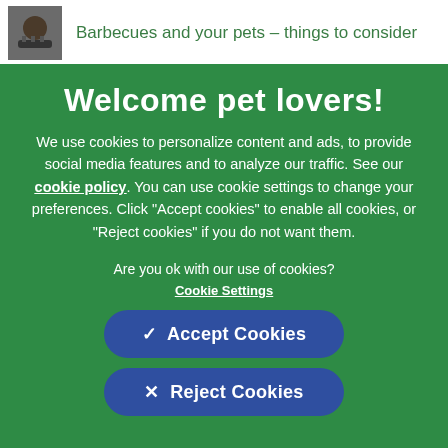[Figure (screenshot): Small thumbnail image of a pet/barbecue scene in the top bar]
Barbecues and your pets – things to consider
Welcome pet lovers!
We use cookies to personalize content and ads, to provide social media features and to analyze our traffic. See our cookie policy. You can use cookie settings to change your preferences. Click "Accept cookies" to enable all cookies, or "Reject cookies" if you do not want them.
Are you ok with our use of cookies?
Cookie Settings
✓  Accept Cookies
×  Reject Cookies